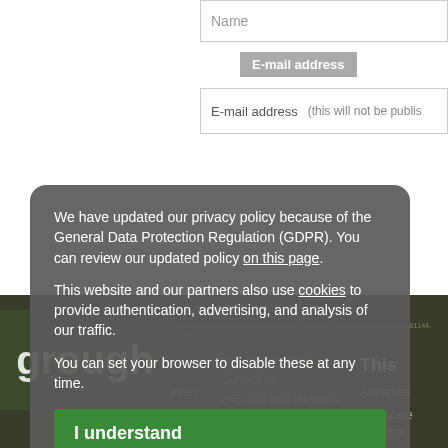Name
E-mail address
E-mail address    (this will not be published)
[Figure (screenshot): GDPR cookie consent overlay on grough.co.uk website with privacy policy notice and 'I understand' button]
We have updated our privacy policy because of the General Data Protection Regulation (GDPR). You can review our updated policy on this page.

This website and our partners also use cookies to provide authentication, advertising, and analysis of our traffic.

You can set your browser to disable these at any time.
I understand
Copyright © grough.co.uk 2006-2022, unless otherwise stated. grough Limited is registered in England and Wales. Registered number 06661144. Registered office...
Our organisation
This
Contact us
Advertise
Site staff and reporters
Syndicate
Who are we?
Manage
Register
grough on Facebook
grough on Twitter